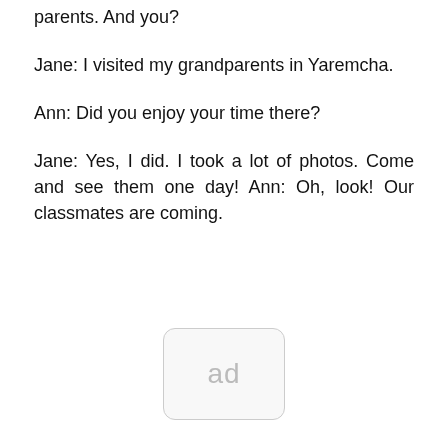parents. And you?
Jane: I visited my grandparents in Yaremcha.
Ann: Did you enjoy your time there?
Jane: Yes, I did. I took a lot of photos. Come and see them one day! Ann: Oh, look! Our classmates are coming.
[Figure (other): Advertisement placeholder box with text 'ad' inside a rounded rectangle]